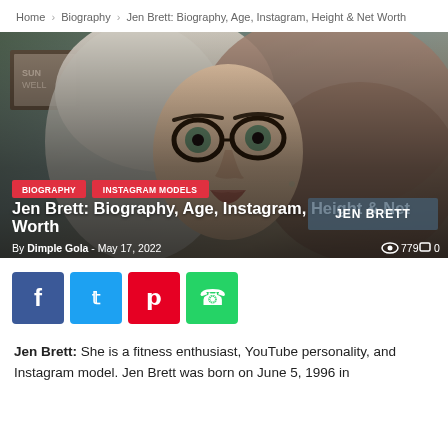Home › Biography › Jen Brett: Biography, Age, Instagram, Height & Net Worth
[Figure (photo): Close-up photo of Jen Brett, a young woman with light/blonde hair and dark-rimmed glasses, looking at the camera. Overlaid with category badges 'BIOGRAPHY' and 'INSTAGRAM MODELS', a title 'Jen Brett: Biography, Age, Instagram, Height & Net Worth', author byline 'By Dimple Gola - May 17, 2022', view count 779, comment count 0, and a watermark 'JEN BRETT']
By Dimple Gola - May 17, 2022  779  0
Jen Brett: She is a fitness enthusiast, YouTube personality, and Instagram model. Jen Brett was born on June 5, 1996 in